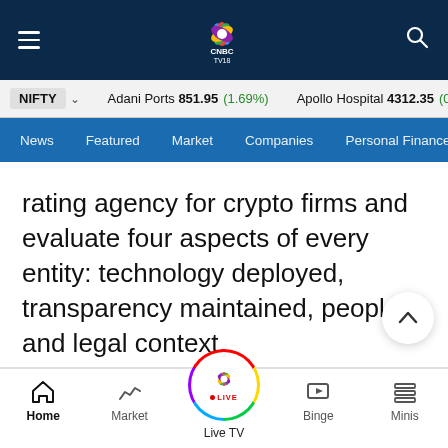CNBC TV18 — Navigation header with hamburger menu, logo, and search icon
NIFTY  Adani Ports 851.95 (1.69%)  Apollo Hospital 4312.35 (0.8
News  Featured  Market  Companies  Personal Finance
rating agency for crypto firms and evaluate four aspects of every entity: technology deployed, transparency maintained, people, and legal context.
Home  Market  Live TV  Binge  Minis